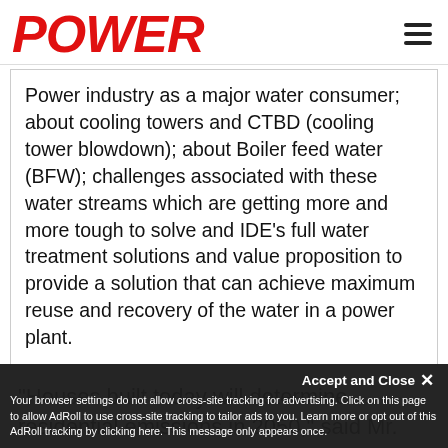POWER
Power industry as a major water consumer; about cooling towers and CTBD (cooling tower blowdown); about Boiler feed water (BFW); challenges associated with these water streams which are getting more and more tough to solve and IDE’s full water treatment solutions and value proposition to provide a solution that can achieve maximum reuse and recovery of the water in a power plant.
“Houses built today will determine residential emissions in 2050,” said Mr. Horton. “Meaning homebuilders need to start building for sustainability today. I look forward to working with the to come...
Accept and Close ×
Your browser settings do not allow cross-site tracking for advertising. Click on this page to allow AdRoll to use cross-site tracking to tailor ads to you. Learn more or opt out of this AdRoll tracking by clicking here. This message only appears once.